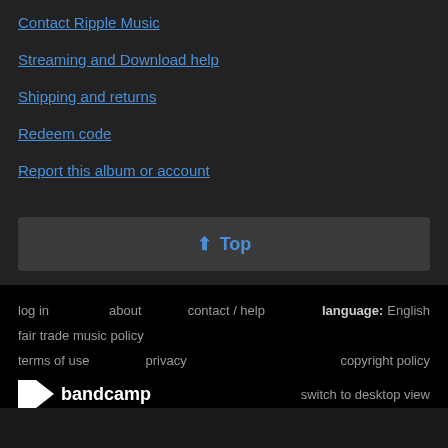Contact Ripple Music
Streaming and Download help
Shipping and returns
Redeem code
Report this album or account
⬆ Top
log in   about   contact / help   language: English   fair trade music policy   terms of use   privacy   copyright policy   bandcamp   switch to desktop view